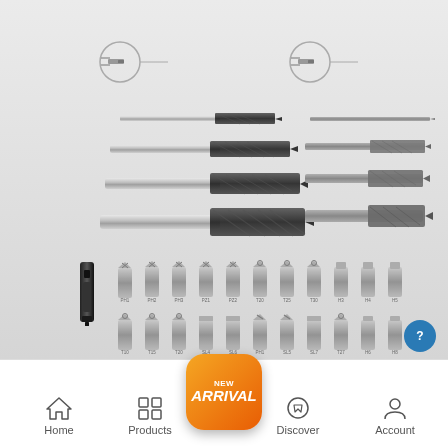[Figure (photo): Product display image showing a drill bit and screwdriver bit set. Left side shows 4 twist drill bits (black and silver, increasing in size). Right side shows 4 smaller grey drill bits. Bottom section shows a magnetic bit holder and approximately 25 screwdriver bits in two rows arranged by type (Phillips, Torx, Hex, Slotted, etc.).]
[Figure (screenshot): Mobile app navigation bar at bottom with icons: Home, Products, New Arrival (center orange rounded square button), Discover, Account. A blue circular help button appears in the lower right.]